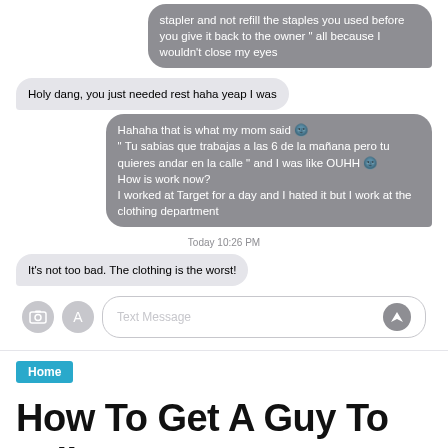[Figure (screenshot): iOS iMessage conversation screenshot showing chat bubbles. Right-aligned gray bubble (cut off at top): 'stapler and not refill the staples you used before you give it back to the owner " all because I wouldn't close my eyes'. Left-aligned light gray bubble: 'Holy dang, you just needed rest haha yeap I was'. Right-aligned gray bubble: 'Hahaha that is what my mom said [emoji] " Tu sabias que trabajas a las 6 de la mañana pero tu quieres andar en la calle " and I was like OUHH [emoji] How is work now? I worked at Target for a day and I hated it but I work at the clothing department'. Timestamp: 'Today 10:26 PM'. Left-aligned light bubble: 'It\'s not too bad. The clothing is the worst!'. Input bar with camera icon, App Store icon, Text Message field, and send button.]
Home
How To Get A Guy To Talk To You?
08.05.2018   root   bumble